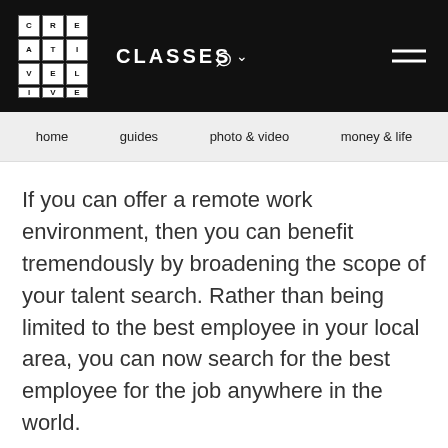CREATIVE LIVE — CLASSES — search — menu
home   guides   photo & video   money & life
If you can offer a remote work environment, then you can benefit tremendously by broadening the scope of your talent search. Rather than being limited to the best employee in your local area, you can now search for the best employee for the job anywhere in the world.
If you cannot offer remote work, then try expanding the scope of your search outside your local city to nearby cities where